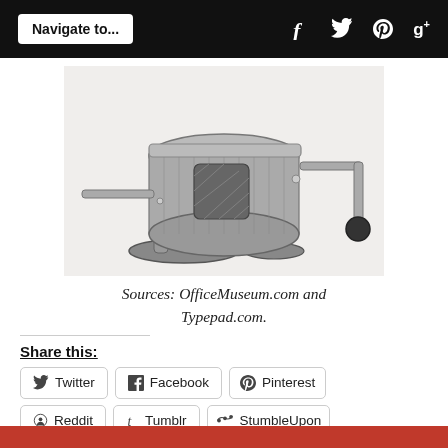Navigate to...  f  t  p  g+
[Figure (photo): Vintage mechanical device (mimeograph or duplicating machine) with cylindrical drum, hand crank, and metal frame, shown in black and white engraving style]
Sources: OfficeMuseum.com and Typepad.com.
Share this:
Twitter
Facebook
Pinterest
Reddit
Tumblr
StumbleUpon
Email
Print